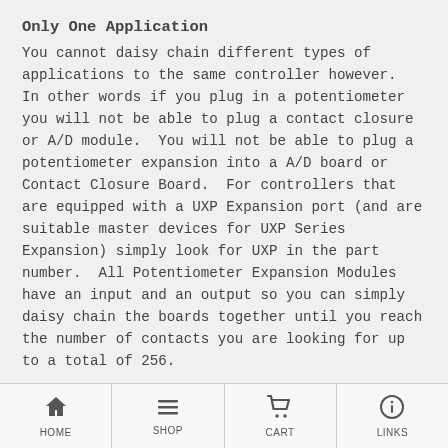Only One Application
You cannot daisy chain different types of applications to the same controller however. In other words if you plug in a potentiometer you will not be able to plug a contact closure or A/D module. You will not be able to plug a potentiometer expansion into a A/D board or Contact Closure Board. For controllers that are equipped with a UXP Expansion port (and are suitable master devices for UXP Series Expansion) simply look for UXP in the part number. All Potentiometer Expansion Modules have an input and an output so you can simply daisy chain the boards together until you reach the number of contacts you are looking for up to a total of 256.
HOME | SHOP | CART | LINKS